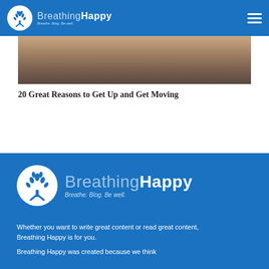Breathing Happy — Breathe. Blog. Be well.
[Figure (photo): Partial view of a photo showing a sandy or desert-like surface with brown and tan tones, cropped at the top by the page]
20 Great Reasons to Get Up and Get Moving
[Figure (logo): Breathing Happy logo with circular tree icon and tagline 'Breathe. Blog. Be well.' on blue background]
Whether you want to write great content or read great content, Breathing Happy is for you.
Breathing Happy was created because we think